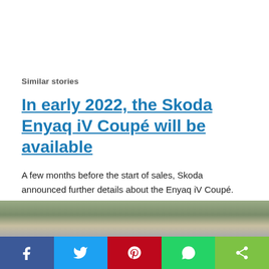Similar stories
In early 2022, the Skoda Enyaq iV Coupé will be available
A few months before the start of sales, Skoda announced further details about the Enyaq iV Coupé. But, unfortunately, the SUV coupé of the well-known MEB… Continue reading...
[Figure (photo): Partial view of a car (Skoda Enyaq iV Coupé) photographed outdoors on grass/gravel background]
[Figure (other): Social media share bar with Facebook, Twitter, Pinterest, WhatsApp, and share icons]